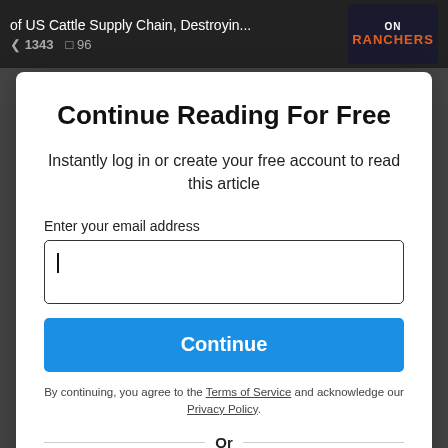of US Cattle Supply Chain, Destroyin... < 1343  96
Continue Reading For Free
Instantly log in or create your free account to read this article
Enter your email address
Continue
By continuing, you agree to the Terms of Service and acknowledge our Privacy Policy.
Or
Continue with Google